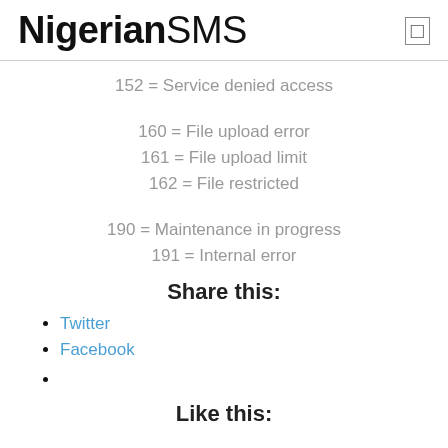NigerianSMS
152 = Service denied access
160 = File upload error
161 = File upload limit
162 = File restricted
190 = Maintenance in progress
191 = Internal error
Share this:
Twitter
Facebook
Like this: